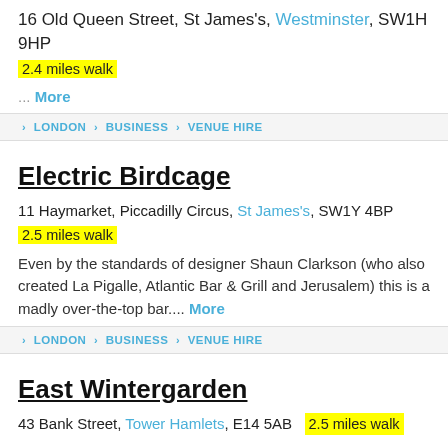16 Old Queen Street, St James's, Westminster, SW1H 9HP
2.4 miles walk
... More
› LONDON › BUSINESS › VENUE HIRE
Electric Birdcage
11 Haymarket, Piccadilly Circus, St James's, SW1Y 4BP
2.5 miles walk
Even by the standards of designer Shaun Clarkson (who also created La Pigalle, Atlantic Bar & Grill and Jerusalem) this is a madly over-the-top bar.... More
› LONDON › BUSINESS › VENUE HIRE
East Wintergarden
43 Bank Street, Tower Hamlets, E14 5AB  2.5 miles walk
The East Wintergarden is a light and airy venue based on the